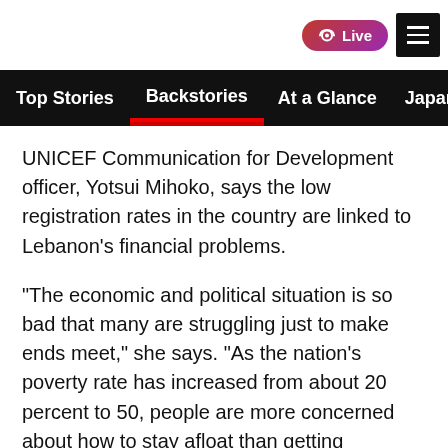Live | Top Stories | Backstories | At a Glance | Japan
UNICEF Communication for Development officer, Yotsui Mihoko, says the low registration rates in the country are linked to Lebanon’s financial problems.
“The economic and political situation is so bad that many are struggling just to make ends meet,” she says. “As the nation’s poverty rate has increased from about 20 percent to 50, people are more concerned about how to stay afloat than getting vaccinated.”
The dire economic conditions have contributed to